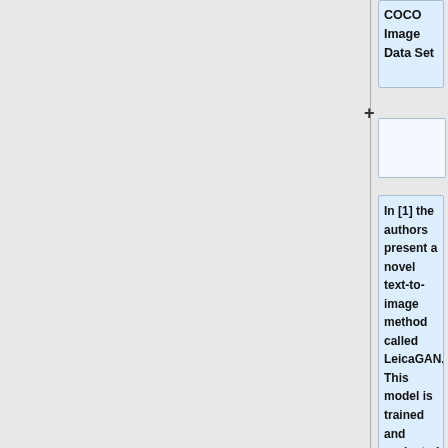COCO Image Data Set
In [1] the authors present a novel text-to-image method called LeicaGAN. This model is trained and evaluated using the CUB bird [2] and Oxford-102 flower [3] data sets and reported favourable performance when compared to benchmark models